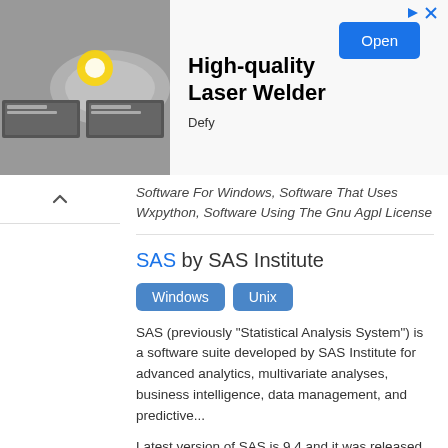[Figure (photo): Advertisement banner for a High-quality Laser Welder product by Defy, showing laser welding machinery images on the left, bold product title in center, and an 'Open' button on the right.]
Software For Windows, Software That Uses Wxpython, Software Using The Gnu Agpl License
SAS by SAS Institute
Windows  Unix
SAS (previously "Statistical Analysis System") is a software suite developed by SAS Institute for advanced analytics, multivariate analyses, business intelligence, data management, and predictive...
Latest version of SAS is 9.4 and it was released on 2013-07-10.
Tags: 4gl, Articles With Example Code, Business